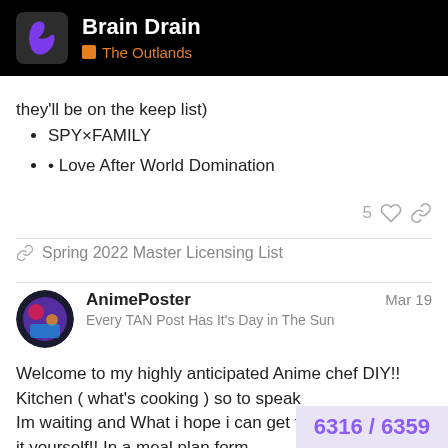Brain Drain — The Outlands
they'll be on the keep list)
SPY×FAMILY
Love After World Domination
5 ♡ 🔗
🔗 Spring 2022 Master Licensing List
AnimePoster   Mar 19
Every TAN Post Has It's Day in The Sun
Welcome to my highly anticipated Anime chef DIY!! Kitchen ( what's cooking ) so to speak
Im waiting and What i hope i can get from the anime do it yourself!! In a meal plan form

Apnetizer - a fun and teasers in each episo
6316 / 6359